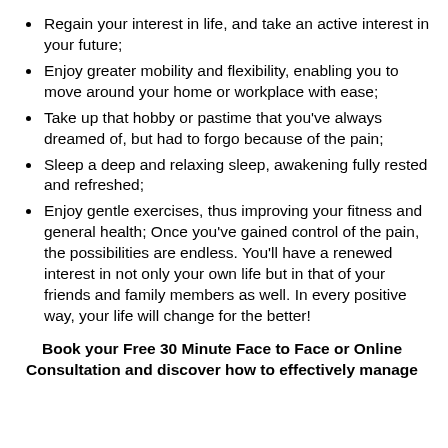Regain your interest in life, and take an active interest in your future;
Enjoy greater mobility and flexibility, enabling you to move around your home or workplace with ease;
Take up that hobby or pastime that you've always dreamed of, but had to forgo because of the pain;
Sleep a deep and relaxing sleep, awakening fully rested and refreshed;
Enjoy gentle exercises, thus improving your fitness and general health; Once you've gained control of the pain, the possibilities are endless. You'll have a renewed interest in not only your own life but in that of your friends and family members as well. In every positive way, your life will change for the better!
Book your Free 30 Minute Face to Face or Online Consultation and discover how to effectively manage